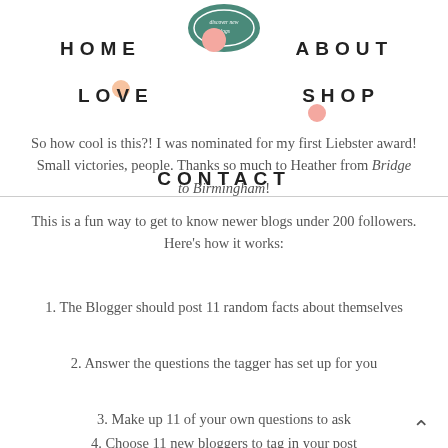HOME   ABOUT   LOVE   SHOP   CONTACT
[Figure (logo): Decorative badge logo with text 'discover new blogs' on teal/green background, with pink decorative circles]
So how cool is this?! I was nominated for my first Liebster award! Small victories, people. Thanks so much to Heather from Bridge to Birmingham!
This is a fun way to get to know newer blogs under 200 followers. Here's how it works:
1. The Blogger should post 11 random facts about themselves
2. Answer the questions the tagger has set up for you
3. Make up 11 of your own questions to ask
4. Choose 11 new bloggers to tag in your post